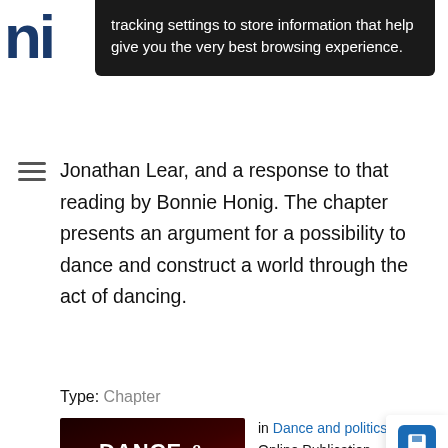ni [logo letters]
tracking settings to store information that help give you the very best browsing experience.
Jonathan Lear, and a response to that reading by Bonnie Honig. The chapter presents an argument for a possibility to dance and construct a world through the act of dancing.
Type: Chapter
[Figure (photo): Book cover of 'Dance & Politics: Moving Beyond Boundaries' with red flowing fabric on dark background]
in Dance and politics Online Publication Date: 21 Nov 2016 ISBN: 9781526105172 Subjects: Film, Media, and Music